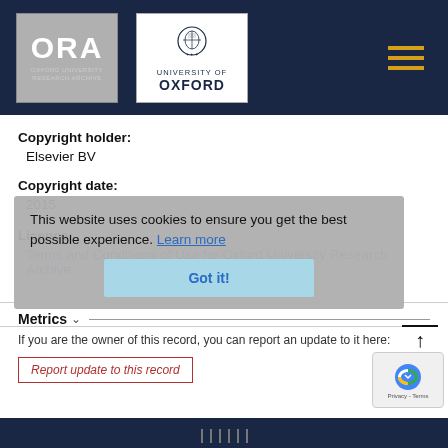[Figure (logo): ORA Oxford University Research Archive logo and University of Oxford crest logo in dark navy header bar with hamburger menu icon]
Copyright holder:
Elsevier BV
Copyright date:
2015
Licence:
Terms and Conditions of Use for Oxford University Research Archive
Metrics ∨
If you are the owner of this record, you can report an update to it here:
Report update to this record
This website uses cookies to ensure you get the best possible experience. Learn more
Got it!